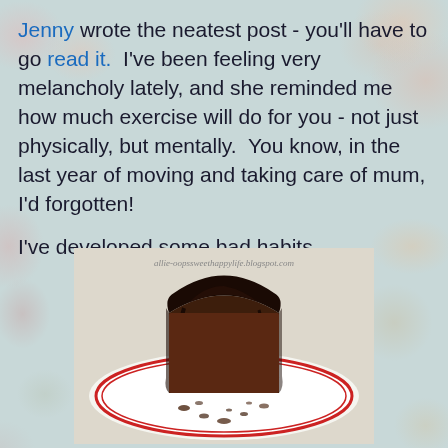Jenny wrote the neatest post - you'll have to go read it.  I've been feeling very melancholy lately, and she reminded me how much exercise will do for you - not just physically, but mentally.  You know, in the last year of moving and taking care of mum, I'd forgotten!

I've developed some bad habits.
[Figure (photo): A slice of chocolate cake with dark chocolate ganache frosting on a white plate with red rim design, with chocolate crumbs scattered on the plate. Watermark reads allie-oopssweethappylife.blogspot.com]